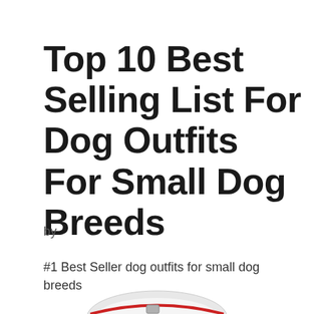Top 10 Best Selling List For Dog Outfits For Small Dog Breeds
by
#1 Best Seller dog outfits for small dog breeds
[Figure (photo): Partial image of a dog collar/outfit visible at the bottom of the page]